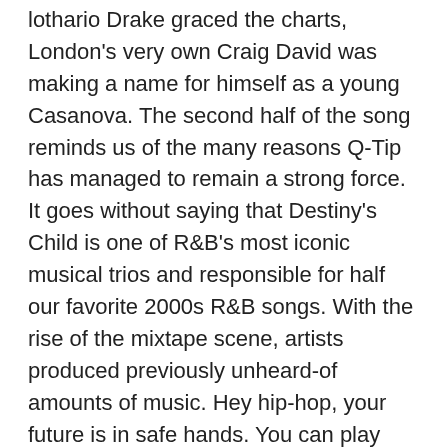lothario Drake graced the charts, London's very own Craig David was making a name for himself as a young Casanova. The second half of the song reminds us of the many reasons Q-Tip has managed to remain a strong force. It goes without saying that Destiny's Child is one of R&B's most iconic musical trios and responsible for half our favorite 2000s R&B songs. With the rise of the mixtape scene, artists produced previously unheard-of amounts of music. Hey hip-hop, your future is in safe hands. You can play this at a retirement home and watch old souls get excited about a line dance. More details can be found in our Privacy Policy. Nina Simone's beautiful art survives on this sprawling epic, as Kweli confronts the social pain afflicting Black women everywhere. Music, Film, TV and Political News Coverage. By now, everyone had learned one thing: never bet against The Neptunes. "10 Bricks" is a movie on wax, replete with vivid descriptions and rewind-worthy metaphors. Jay Electronica is no ordinary rapper. "Black President" took Pac's skepticism ("we ain't ready to see a Black president") and turned it into a positive assertion of progress in U.S. politics. If, at any time, you have specific questions or concerns about the Check